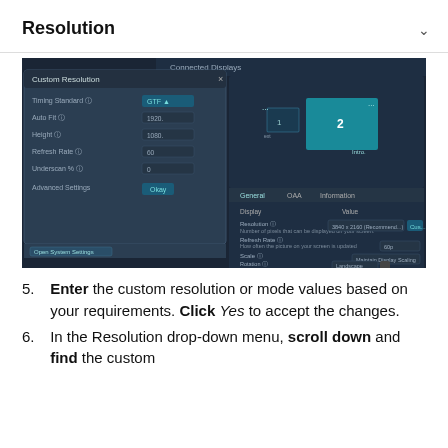Resolution
[Figure (screenshot): Screenshot of NVIDIA Custom Resolution dialog and Connected Displays panel showing resolution, refresh rate, scale, and rotation settings on a dark background.]
5. Enter the custom resolution or mode values based on your requirements. Click Yes to accept the changes.
6. In the Resolution drop-down menu, scroll down and find the custom